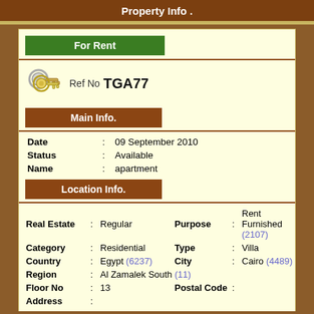Property Info .
For Rent
Ref No  TGA77
Main Info.
| Date | : | 09 September 2010 |
| Status | : | Available |
| Name | : | apartment |
Location Info.
| Real Estate | : | Regular | Purpose | : | Rent Furnished (2107) |
| Category | : | Residential | Type | : | Villa |
| Country | : | Egypt (6237) | City | : | Cairo (4489) |
| Region | : | Al Zamalek South (11) |  |  |  |
| Floor No | : | 13 | Postal Code | : |  |
| Address | : |  |  |  |  |
Price
Rent Price    2500 - 2500 $ ( USD )